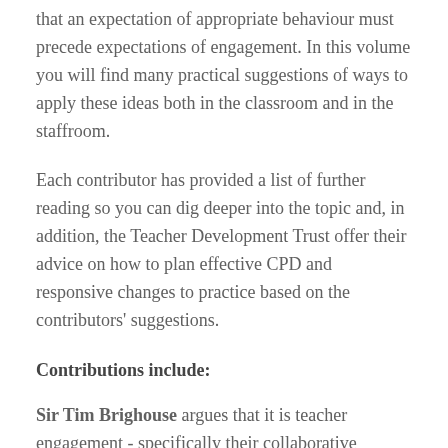that an expectation of appropriate behaviour must precede expectations of engagement. In this volume you will find many practical suggestions of ways to apply these ideas both in the classroom and in the staffroom.
Each contributor has provided a list of further reading so you can dig deeper into the topic and, in addition, the Teacher Development Trust offer their advice on how to plan effective CPD and responsive changes to practice based on the contributors' suggestions.
Contributions include:
Sir Tim Brighouse argues that it is teacher engagement - specifically their collaborative evaluation, dialogue and planning - which is the key to successful learning.
Dr Bill Rogers advocates a non-confrontational